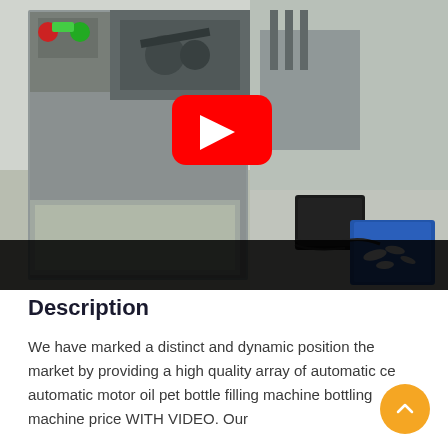[Figure (screenshot): A YouTube video thumbnail showing an industrial automatic motor oil pet bottle filling machine in a factory setting. A red YouTube play button is overlaid in the center. The lower portion of the image is black (video player UI).]
Description
We have marked a distinct and dynamic position the market by providing a high quality array of automatic ce automatic motor oil pet bottle filling machine bottling machine price WITH VIDEO. Our